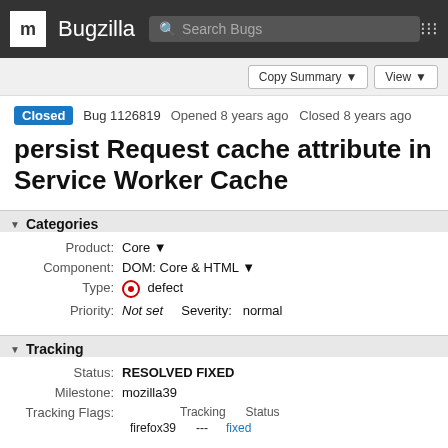m Bugzilla Search Bugs
Copy Summary ▼   View ▼
Closed  Bug 1126819  Opened 8 years ago  Closed 8 years ago
persist Request cache attribute in Service Worker Cache
▾ Categories
|  |  |
| --- | --- |
| Product: | Core ▼ |
| Component: | DOM: Core & HTML ▼ |
| Type: | ⊙ defect |
| Priority: | Not set    Severity:  normal |
▾ Tracking
|  |  |
| --- | --- |
| Status: | RESOLVED FIXED |
| Milestone: | mozilla39 |
| Tracking Flags: | Tracking  Status |
|  | firefox39  ---  fixed |